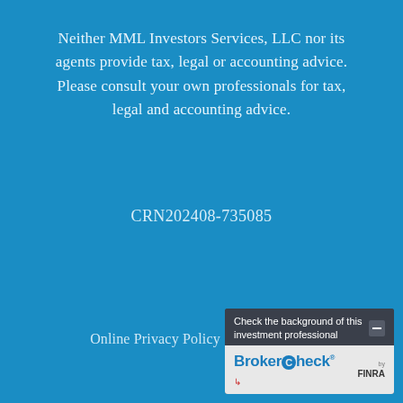Neither MML Investors Services, LLC nor its agents provide tax, legal or accounting advice. Please consult your own professionals for tax, legal and accounting advice.
CRN202408-735085
Online Privacy Policy | Legal Notices
[Figure (other): BrokerCheck by FINRA widget with text 'Check the background of this investment professional' and a minimize button]